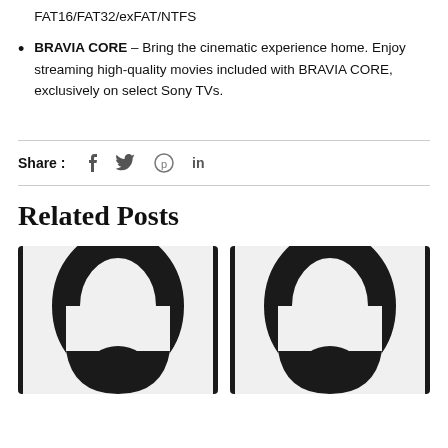FAT16/FAT32/exFAT/NTFS
BRAVIA CORE – Bring the cinematic experience home. Enjoy streaming high-quality movies included with BRAVIA CORE, exclusively on select Sony TVs.
Share : [facebook] [twitter] [pinterest] [linkedin]
Related Posts
[Figure (photo): Two pairs of wireless earphones (sports/hook style) in dark/black color, shown side by side as related product posts.]